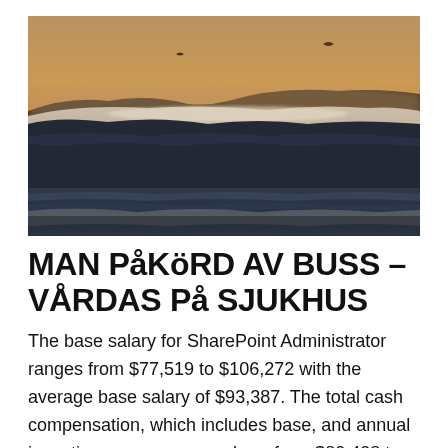[Figure (photo): Ocean beach scene at sunset/dusk with large dark waves in the foreground, sea mist and foam along a shoreline, hills in the background, and a warm orange-golden sky. Two birds are visible in the sky.]
MAN PåKöRD AV BUSS – VÅRDAS På SJUKHUS
The base salary for SharePoint Administrator ranges from $77,519 to $106,272 with the average base salary of $93,387. The total cash compensation, which includes base, and annual incentives, can vary anywhere from $80,408 to